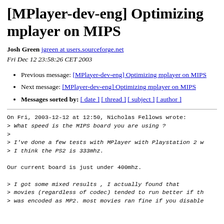[MPlayer-dev-eng] Optimizing mplayer on MIPS
Josh Green jgreen at users.sourceforge.net
Fri Dec 12 23:58:26 CET 2003
Previous message: [MPlayer-dev-eng] Optimizing mplayer on MIPS
Next message: [MPlayer-dev-eng] Optimizing mplayer on MIPS
Messages sorted by: [ date ] [ thread ] [ subject ] [ author ]
On Fri, 2003-12-12 at 12:50, Nicholas Fellows wrote:
> What speed is the MIPS board you are using ?
>
> I've done a few tests with MPlayer with Playstation 2 w
> I think the PS2 is 333mhz.

Our current board is just under 400mhz.

> I got some mixed results , I actually found that
> movies (regardless of codec) tended to run better if th
> was encoded as MP2. most movies ran fine if you disable